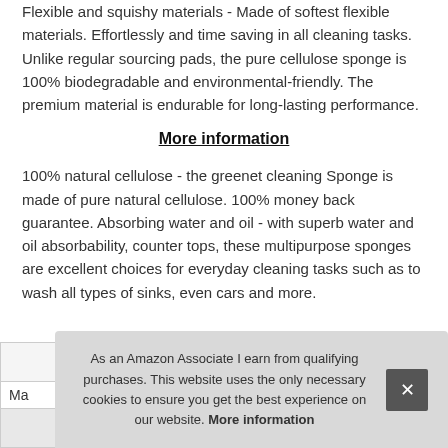Flexible and squishy materials - Made of softest flexible materials. Effortlessly and time saving in all cleaning tasks. Unlike regular sourcing pads, the pure cellulose sponge is 100% biodegradable and environmental-friendly. The premium material is endurable for long-lasting performance.
More information
100% natural cellulose - the greenet cleaning Sponge is made of pure natural cellulose. 100% money back guarantee. Absorbing water and oil - with superb water and oil absorbability, counter tops, these multipurpose sponges are excellent choices for everyday cleaning tasks such as to wash all types of sinks, even cars and more.
As an Amazon Associate I earn from qualifying purchases. This website uses the only necessary cookies to ensure you get the best experience on our website. More information